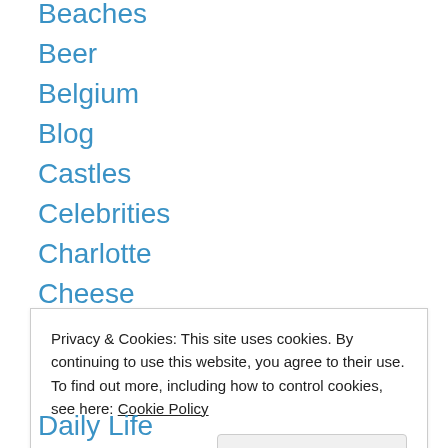Beaches
Beer
Belgium
Blog
Castles
Celebrities
Charlotte
Cheese
Chocolate
Churches
City of Geneva
Climate and Weather
Cows
Crime
Privacy & Cookies: This site uses cookies. By continuing to use this website, you agree to their use. To find out more, including how to control cookies, see here: Cookie Policy
Daily Life